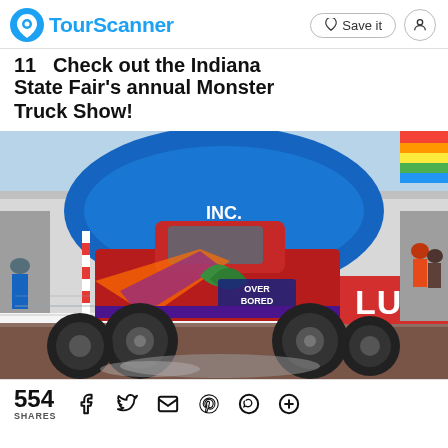TourScanner | Save it
Check out the Indiana State Fair's annual Monster Truck Show!
[Figure (photo): A red monster truck named 'Over Bored' performing at the Indiana State Fair Monster Truck Show, with a blue inflatable arch in the background reading 'INC.' and a red LUCAS sign on the right. Spectators visible in the background.]
554 SHARES